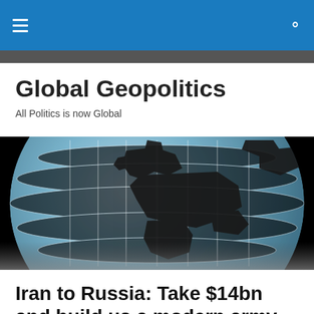Global Geopolitics — navigation bar
Global Geopolitics
All Politics is now Global
[Figure (photo): Globe with grid lines on black background, showing landmasses in dark silhouette against light blue oceanic regions]
Iran to Russia: Take $14bn and build us a modern army